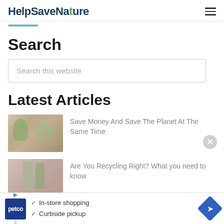HelpSaveNature
Search
Search this website
Latest Articles
[Figure (photo): Interior room with plants and sofa]
Save Money And Save The Planet At The Same Time
[Figure (photo): Flowers and vases on table]
Are You Recycling Right? What you need to know
[Figure (other): Petco advertisement: In-store shopping, Curbside pickup]